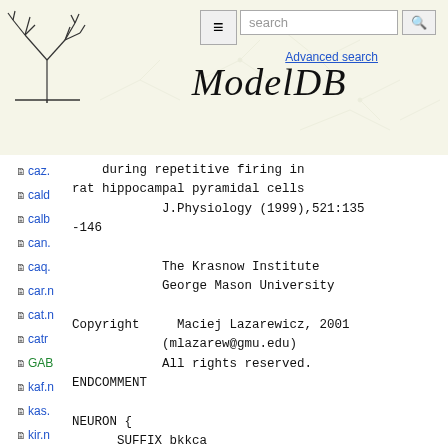[Figure (logo): ModelDB website header with tree logo, navigation menu button, search bar, and italic ModelDB title text]
caz.
cald
calb
can.
caq.
car.n
cat.n
catr
GAB
kaf.n
kas.
kir.n
krp.
naf.
nap
during repetitive firing in rat hippocampal pyramidal cells
            J.Physiology (1999),521:135-146

            The Krasnow Institute
            George Mason University

Copyright     Maciej Lazarewicz, 2001
            (mlazarew@gmu.edu)
            All rights reserved.
ENDCOMMENT

NEURON {
      SUFFIX bkkca
      USEION k READ ek WRITE ik
      USEION ca READ cai
      RANGE  gkbar,ik, q
}